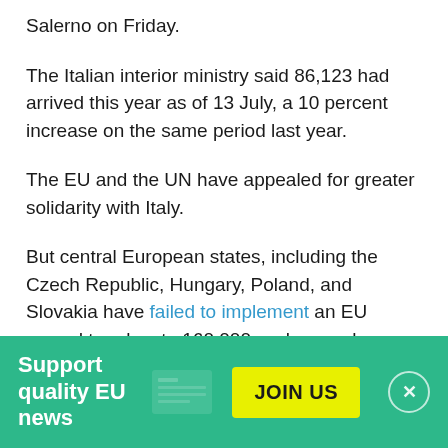Salerno on Friday.
The Italian interior ministry said 86,123 had arrived this year as of 13 July, a 10 percent increase on the same period last year.
The EU and the UN have appealed for greater solidarity with Italy.
But central European states, including the Czech Republic, Hungary, Poland, and Slovakia have failed to implement an EU accord to relocate 160,000 asylum seekers from Italy and Greece over the past two year.
France and Germany are also tens of thousands of
Support quality EU news
JOIN US